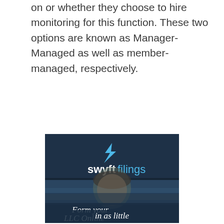on or whether they choose to hire monitoring for this function. These two options are known as Manager-Managed as well as member-managed, respectively.
[Figure (illustration): Swyft Filings advertisement banner showing company logo with a lightning bolt 's' icon and 'swyftfilings' text in white and blue, overlaid on a dark navy background with a man's face in lower portion, and italic text reading 'Form your LLC Online in as little']